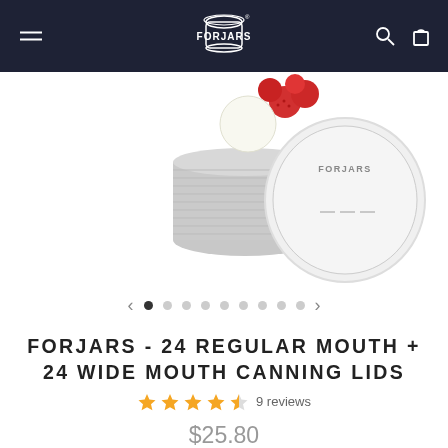FORJARS (navigation bar with logo, hamburger menu, search and cart icons)
[Figure (photo): Stack of silver/stainless steel canning jar lids with a white FORJARS branded lid leaning against them, and red berries visible in background. Product photo on white background.]
< • ○ ○ ○ ○ ○ ○ ○ ○ > (carousel navigation dots, first dot active)
FORJARS - 24 REGULAR MOUTH + 24 WIDE MOUTH CANNING LIDS
★★★★½ 9 reviews
$25.80